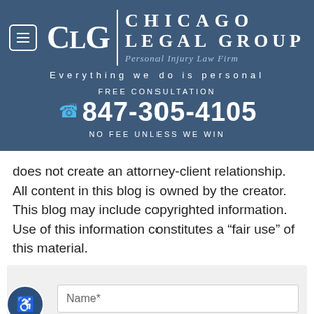[Figure (logo): Chicago Legal Group logo with CLG monogram and text: CHICAGO LEGAL GROUP Personal Injury Law Firm]
Everything we do is personal
FREE CONSULTATION
847-305-4105
NO FEE UNLESS WE WIN
does not create an attorney-client relationship. All content in this blog is owned by the creator. This blog may include copyrighted information. Use of this information constitutes a “fair use” of this material.
[Figure (other): Web form section with Name* input field and accessibility icon]